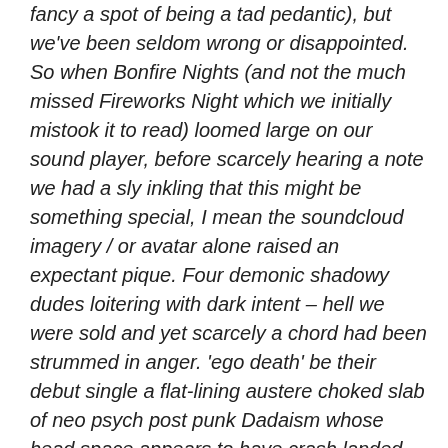fancy a spot of being a tad pedantic), but we've been seldom wrong or disappointed. So when Bonfire Nights (and not the much missed Fireworks Night which we initially mistook it to read) loomed large on our sound player, before scarcely hearing a note we had a sly inkling that this might be something special, I mean the soundcloud imagery / or avatar alone raised an expectant pique. Four demonic shadowy dudes loitering with dark intent – hell we were sold and yet scarcely a chord had been strummed in anger. 'ego death' be their debut single a flat-lining austere choked slab of neo psych post punk Dadaism whose head space appears to have crash landed somewhere in that golden year of 1979 whereupon to desolate futuristic landscapes nightmarishly sculptured by Tubeway Army's 'replicas' albeit as seen through the viewfinder of a kraut gouged Echoboy and to the lock